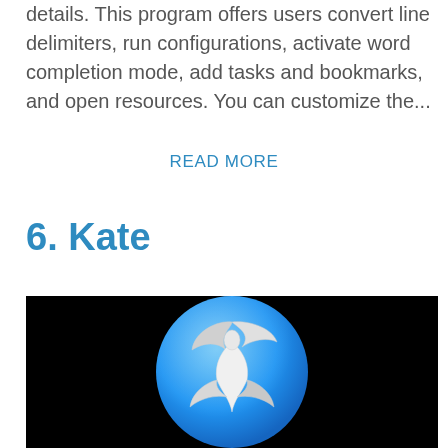details. This program offers users convert line delimiters, run configurations, activate word completion mode, add tasks and bookmarks, and open resources. You can customize the...
READ MORE
6. Kate
[Figure (logo): Kate text editor logo: a white stylized bird/figure on a blue circle background, set against a black background]